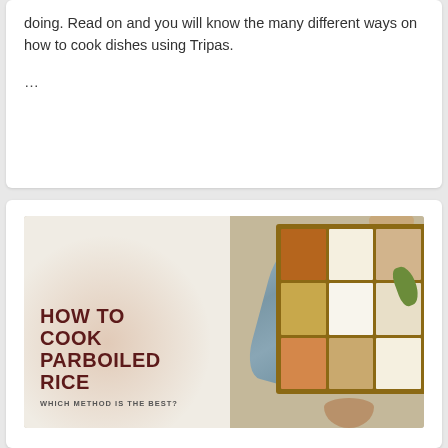doing. Read on and you will know the many different ways on how to cook dishes using Tripas.
...
[Figure (illustration): Promotional image for 'How to Cook Parboiled Rice - Which Method is the Best?' showing various types of rice in a wooden compartment box, herbs, bowls, and scattered spices on a light background with a blue cloth.]